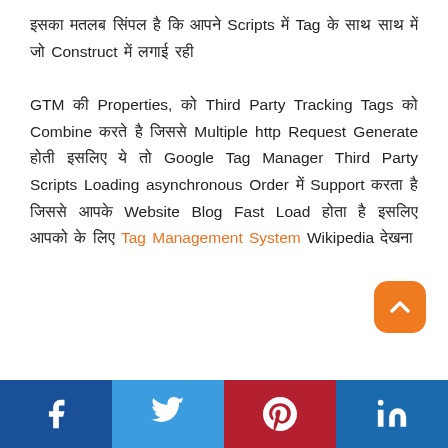इसका मतलब सिंपल है कि आपने Scripts में Tag के साथ साथ में जो Construct में लगाई रही GTM की Properties, को Third Party Tracking Tags को Combine करते है जिससे Multiple http Request Generate होती इसलिए ये तो Google Tag Manager Third Party Scripts Loading asynchronous Order में Support करता है जिससे आपके Website Blog Fast Load होता है इसलिए आपको के लिए Tag Management System Wikipedia देखना
[Figure (other): Scroll to top button (orange rounded square with upward chevron)]
[Figure (other): Social sharing bar with Facebook, Twitter, Pinterest, LinkedIn buttons]